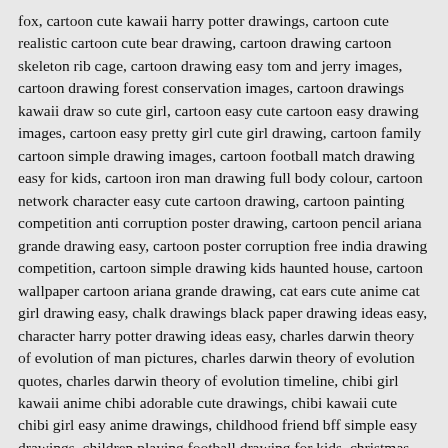fox, cartoon cute kawaii harry potter drawings, cartoon cute realistic cartoon cute bear drawing, cartoon drawing cartoon skeleton rib cage, cartoon drawing easy tom and jerry images, cartoon drawing forest conservation images, cartoon drawings kawaii draw so cute girl, cartoon easy cute cartoon easy drawing images, cartoon easy pretty girl cute girl drawing, cartoon family cartoon simple drawing images, cartoon football match drawing easy for kids, cartoon iron man drawing full body colour, cartoon network character easy cute cartoon drawing, cartoon painting competition anti corruption poster drawing, cartoon pencil ariana grande drawing easy, cartoon poster corruption free india drawing competition, cartoon simple drawing kids haunted house, cartoon wallpaper cartoon ariana grande drawing, cat ears cute anime cat girl drawing easy, chalk drawings black paper drawing ideas easy, character harry potter drawing ideas easy, charles darwin theory of evolution of man pictures, charles darwin theory of evolution quotes, charles darwin theory of evolution timeline, chibi girl kawaii anime chibi adorable cute drawings, chibi kawaii cute chibi girl easy anime drawings, childhood friend bff simple easy drawings, children playing football drawing for kids, christmas drawing for kids black and white, christmas tree christmas drawing for kids, civil engineering drawing symbols chart pdf, class room classroom